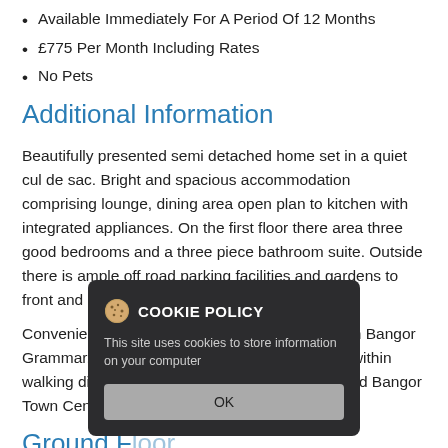Available Immediately For A Period Of 12 Months
£775 Per Month Including Rates
No Pets
Additional Information
Beautifully presented semi detached home set in a quiet cul de sac. Bright and spacious accommodation comprising lounge, dining area open plan to kitchen with integrated appliances. On the first floor there area three good bedrooms and a three piece bathroom suite. Outside there is ample off road parking facilities and gardens to front and rear.
Convenient to local junior and senior schools with Bangor Grammar, Kilmaine Primary and Ballymagee all within walking distance. Bloomfield Shopping Centre and Bangor Town Centre are a short car journey away.
Ground Floor
Entrance Hall
[Figure (screenshot): Cookie policy modal dialog overlay with dark background, showing title 'COOKIE POLICY', body text 'This site uses cookies to store information on your computer', and an OK button.]